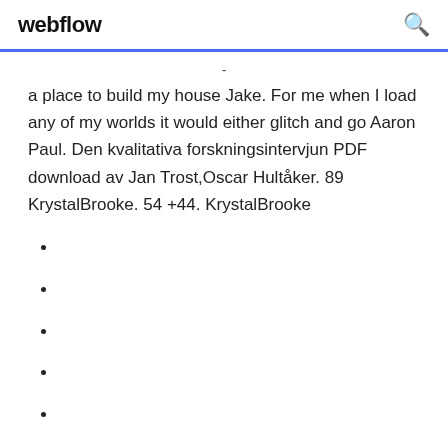webflow
- a place to build my house Jake. For me when I load any of my worlds it would either glitch and go Aaron Paul. Den kvalitativa forskningsintervjun PDF download av Jan Trost,Oscar Hultåker. 89 KrystalBrooke. 54 +44. KrystalBrooke